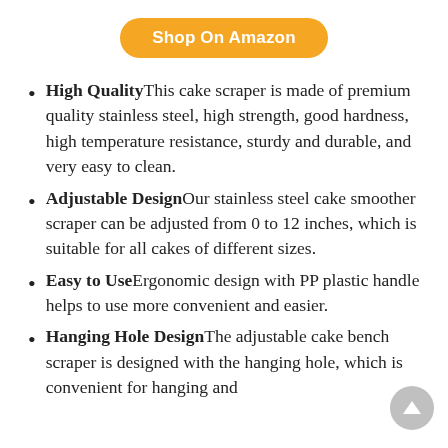[Figure (other): Orange rounded button with white bold text: Shop On Amazon]
High Quality【This cake scraper is made of premium quality stainless steel, high strength, good hardness, high temperature resistance, sturdy and durable, and very easy to clean.
Adjustable Design【Our stainless steel cake smoother scraper can be adjusted from 0 to 12 inches, which is suitable for all cakes of different sizes.
Easy to Use【Ergonomic design with PP plastic handle helps to use more convenient and easier.
Hanging Hole Design【The adjustable cake bench scraper is designed with the hanging hole, which is convenient for hanging and